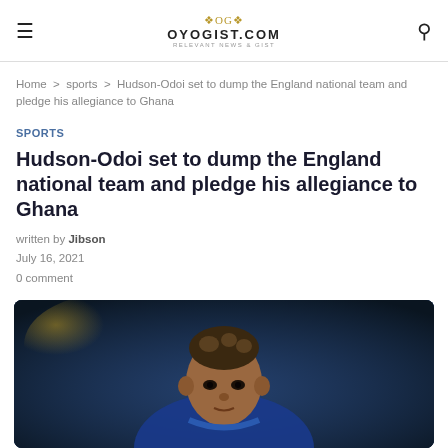OYOGIST.COM
Home > sports > Hudson-Odoi set to dump the England national team and pledge his allegiance to Ghana
SPORTS
Hudson-Odoi set to dump the England national team and pledge his allegiance to Ghana
written by Jibson
July 16, 2021
0 comment
[Figure (photo): Photo of Hudson-Odoi in a blue England kit, close-up portrait with blurred stadium background]